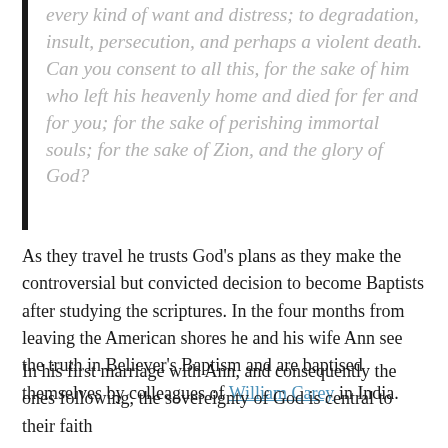every kind of want and distress; to degradation, insult, persecution, and perhaps a violent death. Can you consent to all this, for the sake of him who left his heavenly home and died for fer and for you; for the sake of perishing immortal souls; for the sake of Zion, and the glory of God?
As they travel he trusts God's plans as they make the controversial but convicted decision to become Baptists after studying the scriptures. In the four months from leaving the American shores he and his wife Ann see the truth in Believer's Baptism and are baptised themselves by colleagues of William Carey in India.
In his first marriage with Ann, and consequently the ones following, the sovereignty of God is central to their faith